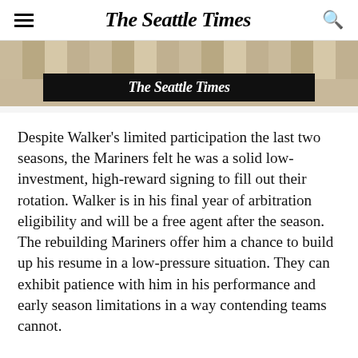The Seattle Times
[Figure (photo): Advertisement banner with wood background texture and The Seattle Times logo in black bar]
Despite Walker’s limited participation the last two seasons, the Mariners felt he was a solid low-investment, high-reward signing to fill out their rotation. Walker is in his final year of arbitration eligibility and will be a free agent after the season. The rebuilding Mariners offer him a chance to build up his resume in a low-pressure situation. They can exhibit patience with him in his performance and early season limitations in a way contending teams cannot.
It will be interesting to see how the Mariners handle